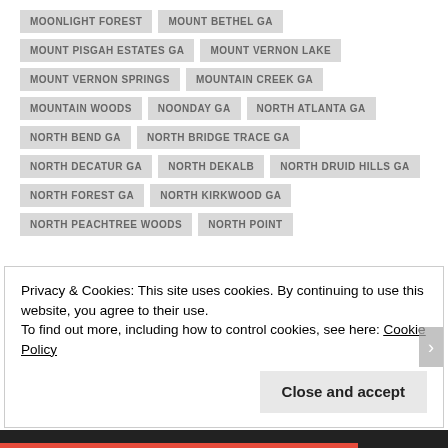MOONLIGHT FOREST
MOUNT BETHEL GA
MOUNT PISGAH ESTATES GA
MOUNT VERNON LAKE
MOUNT VERNON SPRINGS
MOUNTAIN CREEK GA
MOUNTAIN WOODS
NOONDAY GA
NORTH ATLANTA GA
NORTH BEND GA
NORTH BRIDGE TRACE GA
NORTH DECATUR GA
NORTH DEKALB
NORTH DRUID HILLS GA
NORTH FOREST GA
NORTH KIRKWOOD GA
NORTH PEACHTREE WOODS
NORTH POINT
Privacy & Cookies: This site uses cookies. By continuing to use this website, you agree to their use.
To find out more, including how to control cookies, see here: Cookie Policy